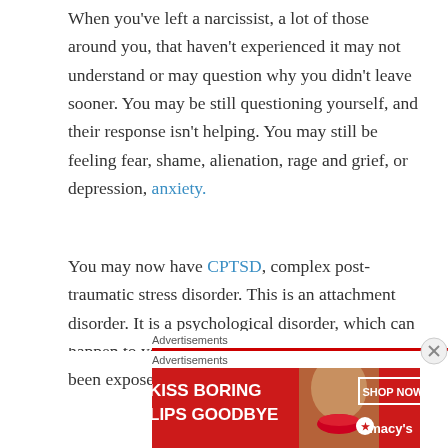When you've left a narcissist, a lot of those around you, that haven't experienced it may not understand or may question why you didn't leave sooner. You may be still questioning yourself, and their response isn't helping. You may still be feeling fear, shame, alienation, rage and grief, or depression, anxiety.
You may now have CPTSD, complex post-traumatic stress disorder. This is an attachment disorder. It is a psychological disorder, which can happen to your child and yourself when you've been exposed to repeated interpersonal trauma.
[Figure (other): Advertisement banner: 'KISS BORING LIPS GOODBYE' with SHOP NOW button and Macy's star logo, over red background with a woman's face.]